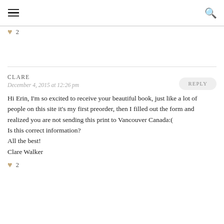≡  🔍
♥ 2
CLARE
December 4, 2015 at 12:26 pm

Hi Erin, I'm so excited to receive your beautiful book, just like a lot of people on this site it's my first preorder, then I filled out the form and realized you are not sending this print to Vancouver Canada:(
Is this correct information?
All the best!
Clare Walker
♥ 2
REPLY